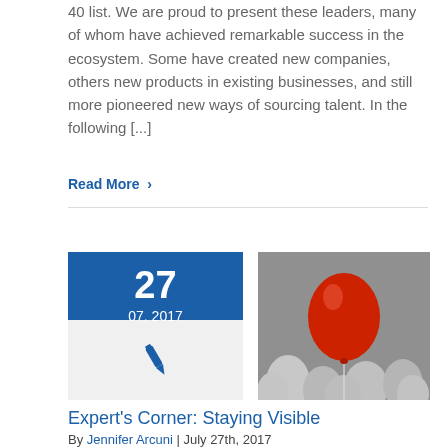40 list. We are proud to present these leaders, many of whom have achieved remarkable success in the ecosystem. Some have created new companies, others new products in existing businesses, and still more pioneered new ways of sourcing talent. In the following [...]
Read More >
[Figure (other): Date block showing 27 / 07, 2017 in blue, with a pen/quill icon below on grey background, and a photograph of a single red balloon floating above a cluster of white balloons on a grey background]
Expert's Corner: Staying Visible
By Jennifer Arcuni | July 27th, 2017
As a generation of digital natives comes into its own in the